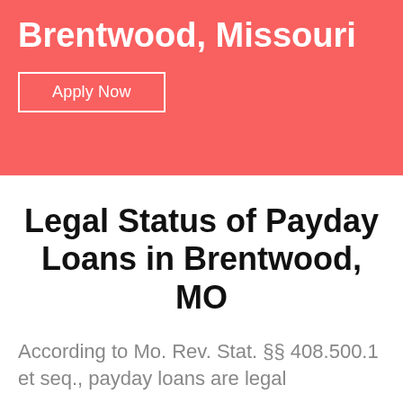Brentwood, Missouri
Apply Now
Legal Status of Payday Loans in Brentwood, MO
According to Mo. Rev. Stat. §§ 408.500.1 et seq., payday loans are legal